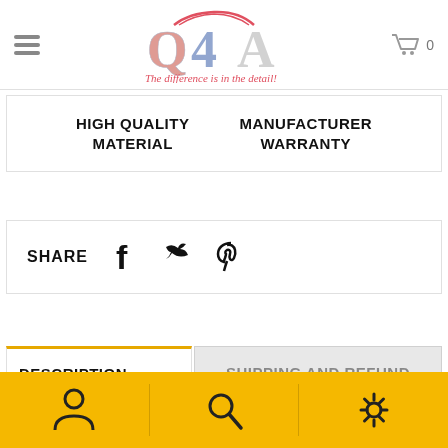[Figure (logo): QAA logo with American flag theme — stylized letters Q, 4, A with stars and stripes coloring, red car silhouette on top, slogan 'The difference is in the detail!' in script below]
HIGH QUALITY MATERIAL
MANUFACTURER WARRANTY
SHARE
[Figure (illustration): Social share icons: Facebook, Twitter, Pinterest]
DESCRIPTION
SHIPPING AND REFUND
[Figure (illustration): Bottom navigation bar with gold/yellow background showing person icon, search icon, and settings/gear icon]